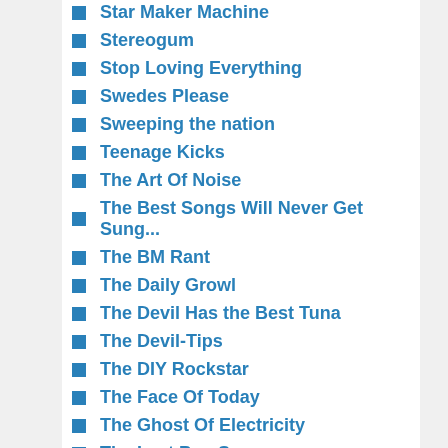Star Maker Machine
Stereogum
Stop Loving Everything
Swedes Please
Sweeping the nation
Teenage Kicks
The Art Of Noise
The Best Songs Will Never Get Sung...
The BM Rant
The Daily Growl
The Devil Has the Best Tuna
The Devil-Tips
The DIY Rockstar
The Face Of Today
The Ghost Of Electricity
The Last Pop Song
The Merry Muses Of Caledonia
The Number One Songs In Heaven
The Pop Cop
The Scattermish Bloooog
The smudge of ashen fluff
The Sound Of Indie